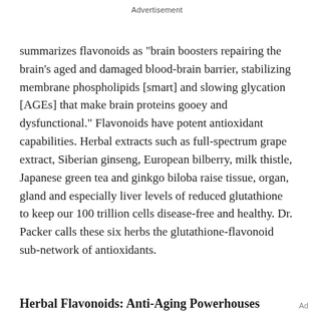Advertisement
summarizes flavonoids as "brain boosters repairing the brain's aged and damaged blood-brain barrier, stabilizing membrane phospholipids [smart] and slowing glycation [AGEs] that make brain proteins gooey and dysfunctional." Flavonoids have potent antioxidant capabilities. Herbal extracts such as full-spectrum grape extract, Siberian ginseng, European bilberry, milk thistle, Japanese green tea and ginkgo biloba raise tissue, organ, gland and especially liver levels of reduced glutathione to keep our 100 trillion cells disease-free and healthy. Dr. Packer calls these six herbs the glutathione-flavonoid sub-network of antioxidants.
Herbal Flavonoids: Anti-Aging Powerhouses